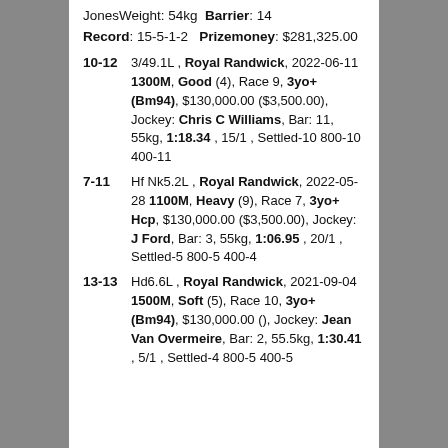JonesWeight: 54kg  Barrier: 14
Record: 15-5-1-2   Prizemoney: $281,325.00
10-12 | 3/49.1L , Royal Randwick, 2022-06-11 1300M, Good (4), Race 9, 3yo+ (Bm94), $130,000.00 ($3,500.00), Jockey: Chris C Williams, Bar: 11, 55kg, 1:18.34 , 15/1 , Settled-10 800-10 400-11
7-11 | Hf Nk5.2L , Royal Randwick, 2022-05-28 1100M, Heavy (9), Race 7, 3yo+ Hcp, $130,000.00 ($3,500.00), Jockey: J Ford, Bar: 3, 55kg, 1:06.95 , 20/1 , Settled-5 800-5 400-4
13-13 | Hd6.6L , Royal Randwick, 2021-09-04 1500M, Soft (5), Race 10, 3yo+ (Bm94), $130,000.00 (), Jockey: Jean Van Overmeire, Bar: 2, 55.5kg, 1:30.41 , 5/1 , Settled-4 800-5 400-5